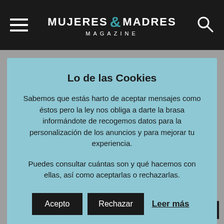MUJERES & MADRES MAGAZINE
Lo de las Cookies
Sabemos que estás harto de aceptar mensajes como éstos pero la ley nos obliga a darte la brasa informándote de recogemos datos para la personalización de los anuncios y para mejorar tu experiencia.
Puedes consultar cuántas son y qué hacemos con ellas, así como aceptarlas o rechazarlas.
Acepto   Rechazar   Leer más
¡Qué mal suena esto!
Pilar Fonseca   2 febrero, 2022